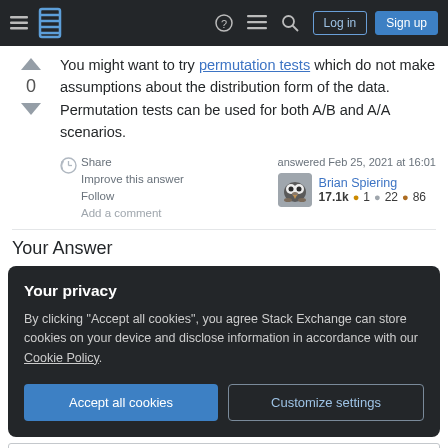Stack Exchange navigation bar with hamburger menu, logo, help, chat, search icons, Log in and Sign up buttons
You might want to try permutation tests which do not make assumptions about the distribution form of the data. Permutation tests can be used for both A/B and A/A scenarios.
Share
Improve this answer
Follow
Add a comment
answered Feb 25, 2021 at 16:01
Brian Spiering
17.1k • 1 • 22 • 86
Your Answer
Your privacy
By clicking "Accept all cookies", you agree Stack Exchange can store cookies on your device and disclose information in accordance with our Cookie Policy.
Accept all cookies  Customize settings